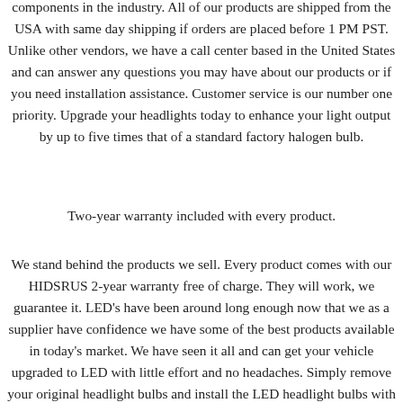components in the industry. All of our products are shipped from the USA with same day shipping if orders are placed before 1 PM PST. Unlike other vendors, we have a call center based in the United States and can answer any questions you may have about our products or if you need installation assistance. Customer service is our number one priority. Upgrade your headlights today to enhance your light output by up to five times that of a standard factory halogen bulb.
Two-year warranty included with every product.
We stand behind the products we sell. Every product comes with our HIDSRUS 2-year warranty free of charge. They will work, we guarantee it. LED's have been around long enough now that we as a supplier have confidence we have some of the best products available in today's market. We have seen it all and can get your vehicle upgraded to LED with little effort and no headaches. Simply remove your original headlight bulbs and install the LED headlight bulbs with plug and play connectors for your original headlight harness that connected to your